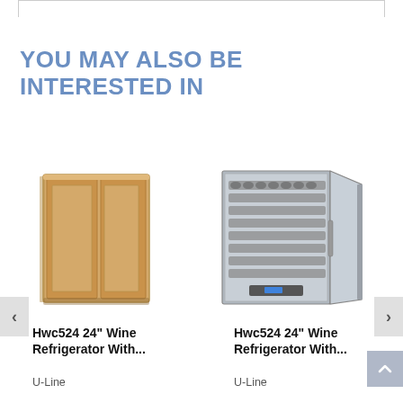YOU MAY ALSO BE INTERESTED IN
[Figure (photo): Wine refrigerator with panel-ready wood front door, closed]
[Figure (photo): Wine refrigerator with stainless steel frame and glass door open, showing wine bottle racks]
Hwc524 24" Wine Refrigerator With...
Hwc524 24" Wine Refrigerator With...
U-Line
U-Line